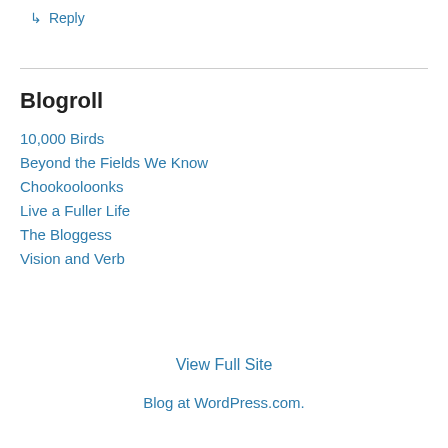↳ Reply
Blogroll
10,000 Birds
Beyond the Fields We Know
Chookooloonks
Live a Fuller Life
The Bloggess
Vision and Verb
View Full Site
Blog at WordPress.com.